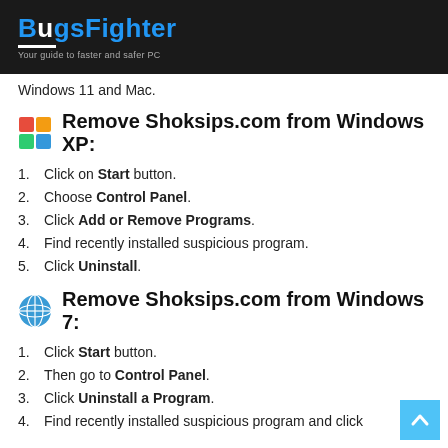BugsFighter — Your guide to faster and safer PC
Windows 11 and Mac.
Remove Shoksips.com from Windows XP:
1. Click on Start button.
2. Choose Control Panel.
3. Click Add or Remove Programs.
4. Find recently installed suspicious program.
5. Click Uninstall.
Remove Shoksips.com from Windows 7:
1. Click Start button.
2. Then go to Control Panel.
3. Click Uninstall a Program.
4. Find recently installed suspicious program and click